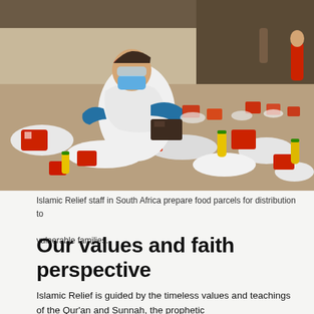[Figure (photo): Islamic Relief staff member in white protective clothing, red bandana, blue gloves and face mask kneeling on the floor preparing food parcels. The floor is covered with rows of food items including red-capped oil bottles, bags of rice/flour, and other food packages arranged for distribution.]
Islamic Relief staff in South Africa prepare food parcels for distribution to vulnerable families.
Our values and faith perspective
Islamic Relief is guided by the timeless values and teachings of the Qur'an and Sunnah, the prophetic